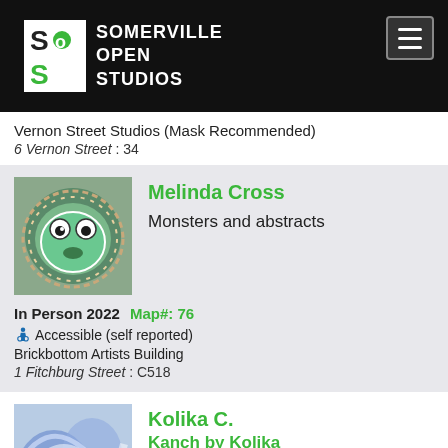SOMERVILLE OPEN STUDIOS
Vernon Street Studios (Mask Recommended)
6 Vernon Street : 34
Melinda Cross
Monsters and abstracts
In Person 2022   Map#: 76
♿ Accessible (self reported)
Brickbottom Artists Building
1 Fitchburg Street : C518
Kolika C.
Kanch by Kolika
Functional Art Glass